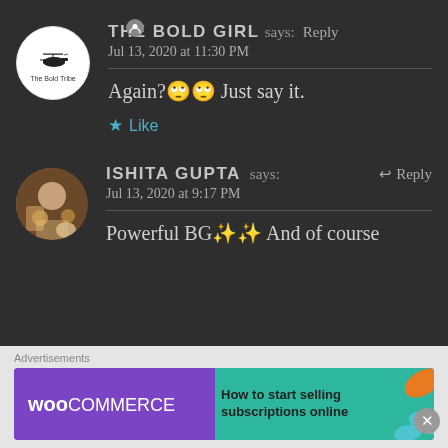THE BOLD GIRL says: Reply
Jul 13, 2020 at 11:30 PM
Again?🙄🙄 Just say it.
★ Like
ISHITA GUPTA says: ↩ Reply
Jul 13, 2020 at 9:17 PM
Powerful BG✨✨ And of course
Advertisements
WOOCOMMERCE How to start selling subscriptions online